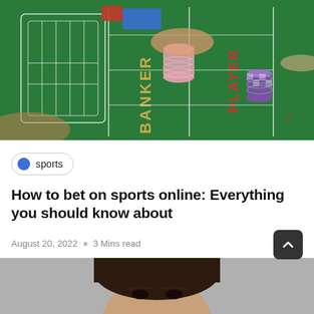[Figure (photo): Casino baccarat table with green felt, white lines, and text 'BANKER' and 'PLAYER'. Two hands visible: one stacking pink poker chips, another with a purple chip stack. Red playing card holder visible.]
sports
How to bet on sports online: Everything you should know about
August 20, 2022  ○  3 Mins read
[Figure (photo): Partial portrait photo of a person with dark hair, cropped at the top of the frame.]